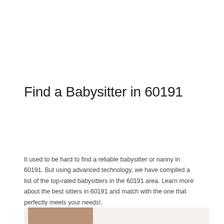Find a Babysitter in 60191
It used to be hard to find a reliable babysitter or nanny in 60191. But using advanced technology, we have compiled a list of the top-rated babysitters in the 60191 area. Learn more about the best sitters in 60191 and match with the one that perfectly meets your needs!.
[Figure (photo): Partial photo of a babysitter or child, cropped at bottom of page]